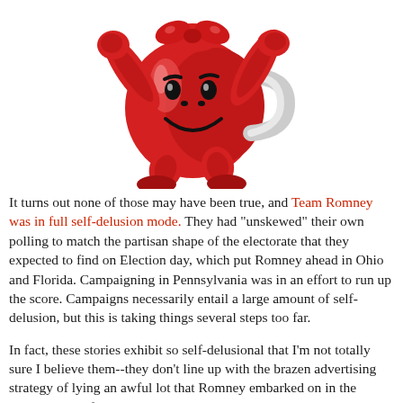[Figure (illustration): Kool-Aid Man mascot illustration — a large red pitcher with a smiley face, arms, and legs, running and waving, with a white handle and bow on top.]
It turns out none of those may have been true, and Team Romney was in full self-delusion mode. They had "unskewed" their own polling to match the partisan shape of the electorate that they expected to find on Election day, which put Romney ahead in Ohio and Florida. Campaigning in Pennsylvania was in an effort to run up the score. Campaigns necessarily entail a large amount of self-delusion, but this is taking things several steps too far.
In fact, these stories exhibit so self-delusional that I'm not totally sure I believe them--they don't line up with the brazen advertising strategy of lying an awful lot that Romney embarked on in the waning days of the campaign.